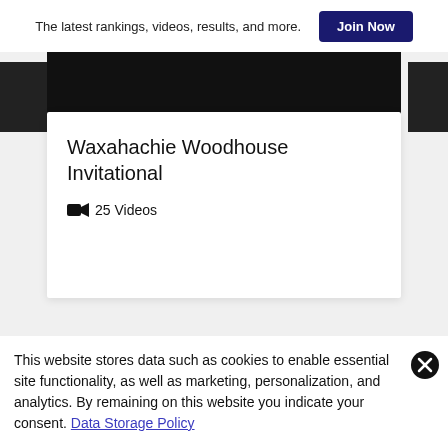The latest rankings, videos, results, and more.  Join Now
[Figure (screenshot): Black image area representing a video thumbnail for Waxahachie Woodhouse Invitational]
Waxahachie Woodhouse Invitational
🎥 25 Videos
This website stores data such as cookies to enable essential site functionality, as well as marketing, personalization, and analytics. By remaining on this website you indicate your consent. Data Storage Policy